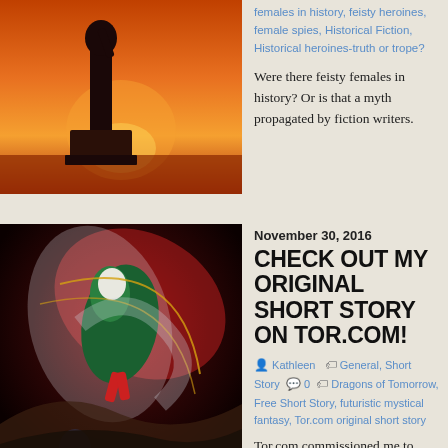[Figure (photo): A statue silhouetted against a vivid orange and red sunset sky]
females in history, feisty heroines, female spies, Historical Fiction, Historical heroines-truth or trope?
Were there feisty females in history? Or is that a myth propagated by fiction writers.
[Figure (illustration): A colorful digital fantasy illustration showing a figure in green and red swirling colors, with another figure in blue below]
November 30, 2016
CHECK OUT MY ORIGINAL SHORT STORY ON TOR.COM!
Kathleen  General, Short Story  0  Dragons of Tomorrow, Free Short Story, futuristic mystical fantasy, Tor.com original short story
Tor.com commissioned me to write a new short story unrelated